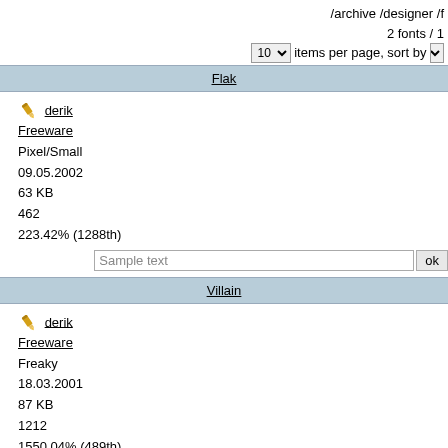/archive /designer /f
2 fonts / 1
10 items per page, sort by
Flak
derik
Freeware
Pixel/Small
09.05.2002
63 KB
462
223.42% (1288th)
Sample text  ok
Villain
derik
Freeware
Freaky
18.03.2001
87 KB
1212
1550.04% (489th)
Sample text  ok
page navigator
derik | 1